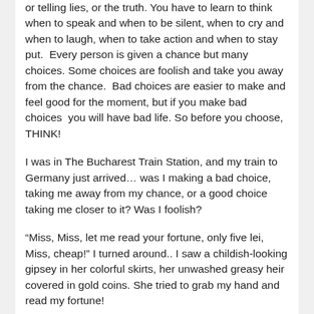or telling lies, or the truth. You have to learn to think when to speak and when to be silent, when to cry and when to laugh, when to take action and when to stay put.  Every person is given a chance but many choices. Some choices are foolish and take you away from the chance.  Bad choices are easier to make and feel good for the moment, but if you make bad choices  you will have bad life. So before you choose, THINK!
I was in The Bucharest Train Station, and my train to Germany just arrived… was I making a bad choice, taking me away from my chance, or a good choice taking me closer to it? Was I foolish?
“Miss, Miss, let me read your fortune, only five lei, Miss, cheap!” I turned around.. I saw a childish-looking gipsey in her colorful skirts, her unwashed greasy heir covered in gold coins. She tried to grab my hand and read my fortune!
“Miss, you go on long, long trip…”